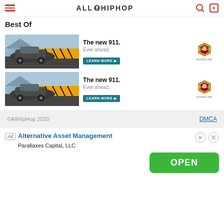AllHipHop
Best Of
[Figure (photo): Porsche 911 advertisement banner with car image, text 'The new 911. Ever ahead.' and LEARN MORE button with Porsche logo (first)]
[Figure (photo): Porsche 911 advertisement banner with car image, text 'The new 911. Ever ahead.' and LEARN MORE button with Porsche logo (second)]
©AllHipHop 2020   DMCA
[Figure (infographic): Google ad: 'Alternative Asset Management', Parallaxes Capital, LLC with OPEN button]